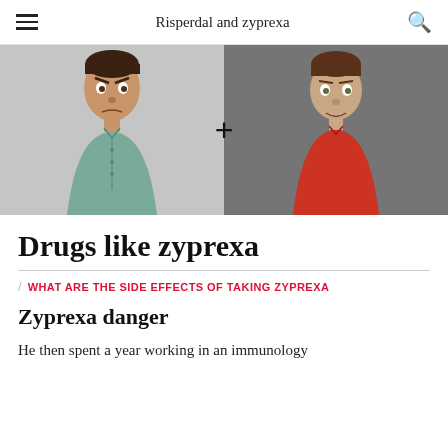Risperdal and zyprexa
[Figure (illustration): Two illustrated cartoon male figures side by side with a plus sign between them. Left figure wears a teal/green shirt on a light gray background. Right figure wears a red shirt on a dark gray background.]
Drugs like zyprexa
WHAT ARE THE SIDE EFFECTS OF TAKING ZYPREXA
Zyprexa danger
He then spent a year working in an immunology